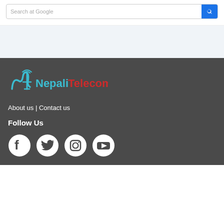[Figure (screenshot): Search bar with blue search button]
[Figure (logo): NepaliTelecom logo with antenna icon in blue/cyan and red text]
About us | Contact us
Follow Us
[Figure (illustration): Social media icons: Facebook, Twitter, Instagram, YouTube]